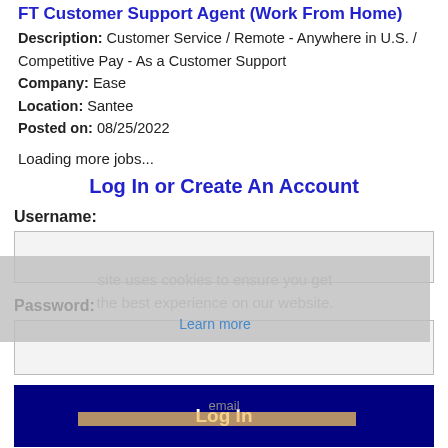FT Customer Support Agent (Work From Home)
Description: Customer Service / Remote - Anywhere in U.S. / Competitive Pay - As a Customer Support
Company: Ease
Location: Santee
Posted on: 08/25/2022
Loading more jobs...
Log In or Create An Account
Username:
Password:
Log In
Forgot password?